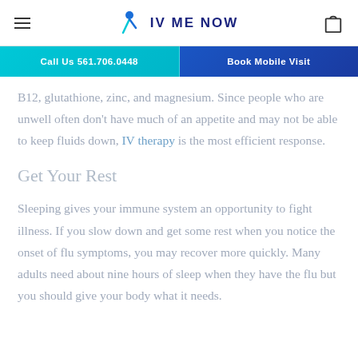IV ME NOW
Call Us 561.706.0448 | Book Mobile Visit
B12, glutathione, zinc, and magnesium. Since people who are unwell often don't have much of an appetite and may not be able to keep fluids down, IV therapy is the most efficient response.
Get Your Rest
Sleeping gives your immune system an opportunity to fight illness. If you slow down and get some rest when you notice the onset of flu symptoms, you may recover more quickly. Many adults need about nine hours of sleep when they have the flu but you should give your body what it needs.